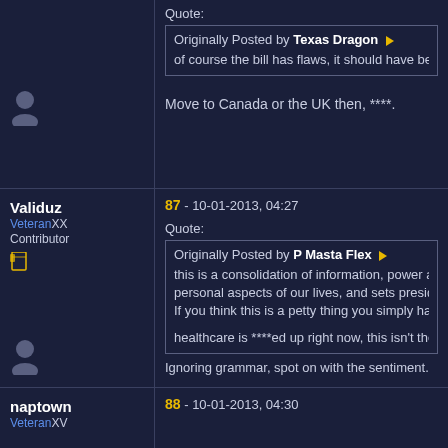Quote:
Originally Posted by Texas Dragon ▶ of course the bill has flaws, it should have been
Move to Canada or the UK then, ****.
Validuz VeteranXX Contributor
87 - 10-01-2013, 04:27
Quote:
Originally Posted by P Masta Flex ▶ this is a consolidation of information, power and personal aspects of our lives, and sets presider If you think this is a petty thing you simply have healthcare is ****ed up right now, this isn't the fi
Ignoring grammar, spot on with the sentiment.
naptown VeteranXV
88 - 10-01-2013, 04:30